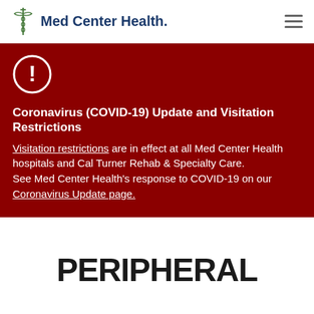Med Center Health.
Coronavirus (COVID-19) Update and Visitation Restrictions
Visitation restrictions are in effect at all Med Center Health hospitals and Cal Turner Rehab & Specialty Care. See Med Center Health's response to COVID-19 on our Coronavirus Update page.
PERIPHERAL